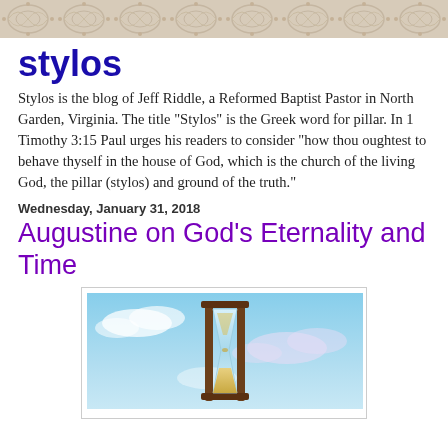[decorative banner image]
stylos
Stylos is the blog of Jeff Riddle, a Reformed Baptist Pastor in North Garden, Virginia. The title "Stylos" is the Greek word for pillar. In 1 Timothy 3:15 Paul urges his readers to consider "how thou oughtest to behave thyself in the house of God, which is the church of the living God, the pillar (stylos) and ground of the truth."
Wednesday, January 31, 2018
Augustine on God's Eternality and Time
[Figure (photo): An hourglass against a blue sky with clouds background]